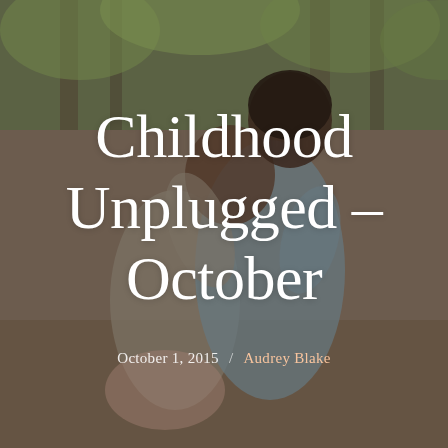[Figure (photo): A photograph of two children hugging outdoors among trees, one child kissing the other on the head. Muted earthy tones with green foliage in background.]
Childhood Unplugged – October
October 1, 2015 / Audrey Blake